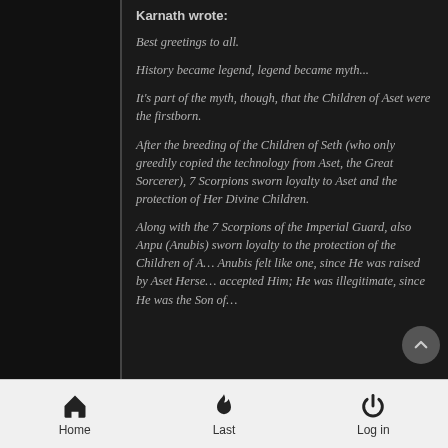Karnath wrote:
Best greetings to all.
History became legend, legend became myth...
It's part of the myth, though, that the Children of Aset were the firstborn.
After the breeding of the Children of Seth (who only greedily copied the technology from Aset, the Great Sorcerer), 7 Scorpions sworn loyalty to Aset and the protection of Her Divine Children.
Along with the 7 Scorpions of the Imperial Guard, also Anpu (Anubis) sworn loyalty to the protection of the Children of A... Anubis felt like one, since He was raised by Aset Herse... accepted Him; He was illegitimate, since He was the Son of...
Home   Last   Log in